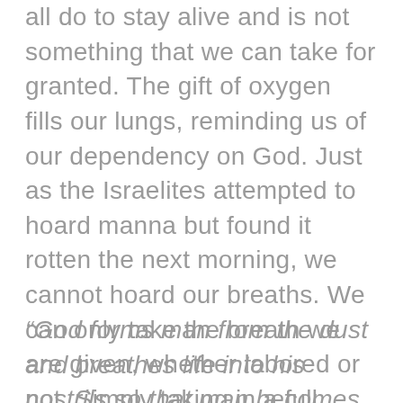all do to stay alive and is not something that we can take for granted. The gift of oxygen fills our lungs, reminding us of our dependency on God. Just as the Israelites attempted to hoard manna but found it rotten the next morning, we cannot hoard our breaths. We can only take the breath we are given, whether labored or not. Simply taking in a full breath of air is a way to reorient our hearts away from fear and toward trust. To ground ourselves deeper spiritually.
“God forms man from the dust and breathes life into his nostrils so that man becomes a living being.”